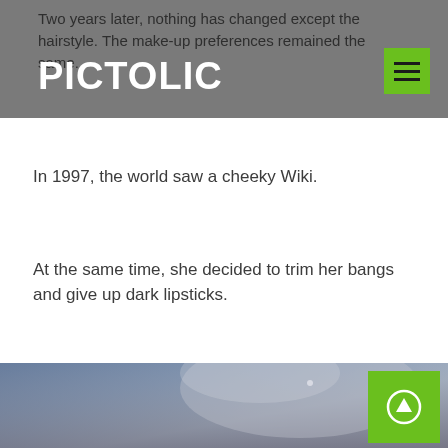Two years later, nothing has changed except the hairstyle. The make-up preferences remained the same.
PICTOLIC
In 1997, the world saw a cheeky Wiki.
At the same time, she decided to trim her bangs and give up dark lipsticks.
In 1998, Victoria's experiments with hair color began. Posh Spice has become a burning brunette.
[Figure (photo): Partial photo showing a person's face/hair in blue-grey tones, partially visible at bottom of page]